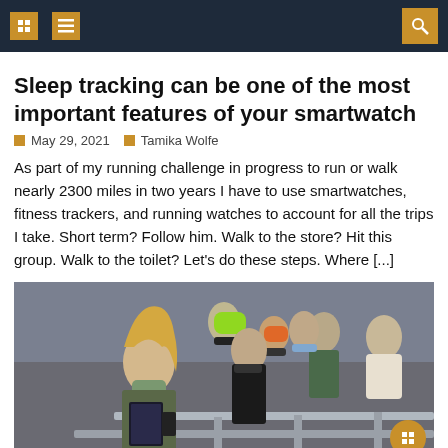navigation header with icons
Sleep tracking can be one of the most important features of your smartwatch
May 29, 2021   Tamika Wolfe
As part of my running challenge in progress to run or walk nearly 2300 miles in two years I have to use smartwatches, fitness trackers, and running watches to account for all the trips I take. Short term? Follow him. Walk to the store? Hit this group. Walk to the toilet? Let's do these steps. Where [...]
[Figure (photo): Group of people wearing face masks standing in a queue behind metal barriers outdoors. A woman in the foreground is reading a book while wearing a mask.]